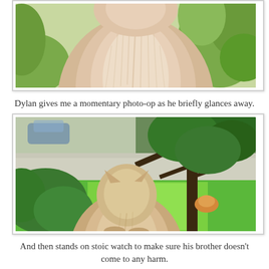[Figure (photo): Close-up back view of a fluffy light-colored/cream cat seen from behind, with green foliage in the background.]
Dylan gives me a momentary photo-op as he briefly glances away.
[Figure (photo): A cream/tan cat sitting with its back to the camera, looking out at a green yard with a tree. Another cat (orange) is visible resting in the distance under the tree.]
And then stands on stoic watch to make sure his brother doesn't come to any harm.